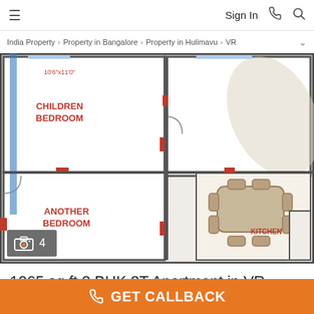≡   Sign In  📞  🔍
India Property > Property in Bangalore > Property in Hulimavu > VR
[Figure (illustration): Architectural floor plan of a 2 BHK apartment showing rooms labeled in red text, a dining table with chairs, and a semi-transparent rolled paper in the top right. Camera icon overlay with count '4' in bottom-left corner.]
1065 sq ft 2 BHK 2T Apartment in VR Infrastructures Galaxy
GET CALLBACK